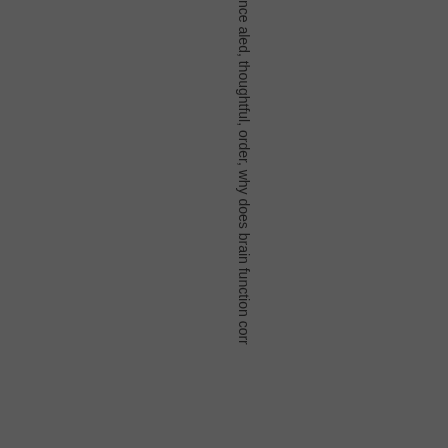nce aled, thoughtful, order, why does brain function corr